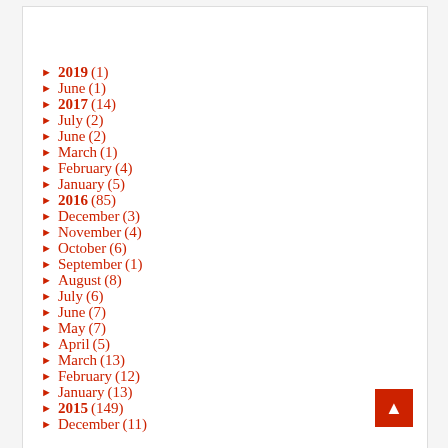► 2019 (1)
► June (1)
► 2017 (14)
► July (2)
► June (2)
► March (1)
► February (4)
► January (5)
► 2016 (85)
► December (3)
► November (4)
► October (6)
► September (1)
► August (8)
► July (6)
► June (7)
► May (7)
► April (5)
► March (13)
► February (12)
► January (13)
► 2015 (149)
► December (11)